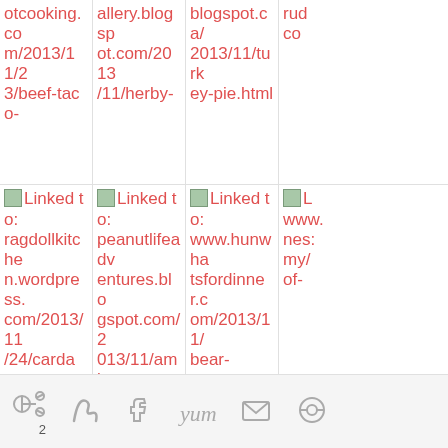[Figure (screenshot): Grid of linked blog post thumbnails with URLs shown as text. Row 1 (partial/top): otcooking.com/2013/11/23/beef-taco-, allery.blogspot.com/2013/11/herby-, blogspot.ca/2013/11/turkey-pie.html, and partial 4th. Row 2: ragdollkitchen.wordpress.com/2013/11/24/cardamo, peanutlifeadventures.blogspot.com/2013/11/amis, www.hunwhatsfordinner.com/2013/11/bear-, and partial 4th. Row 3: bizzybakesb.blogspot.com/2013/11/a, kocinadepinay.com/nuttela-fitnesse-, caroleschatter.blogspot.co.nz/2013/1, and partial 4th. Footer with social share icons: Pinterest, Twitter, Facebook, Yum, Email, and another icon. Number 2 below Pinterest.]
2